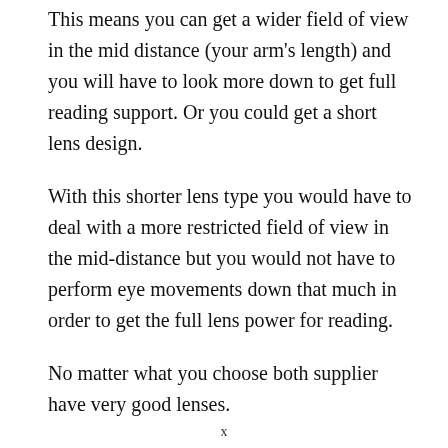This means you can get a wider field of view in the mid distance (your arm's length) and you will have to look more down to get full reading support. Or you could get a short lens design.
With this shorter lens type you would have to deal with a more restricted field of view in the mid-distance but you would not have to perform eye movements down that much in order to get the full lens power for reading.
No matter what you choose both supplier have very good lenses.
x